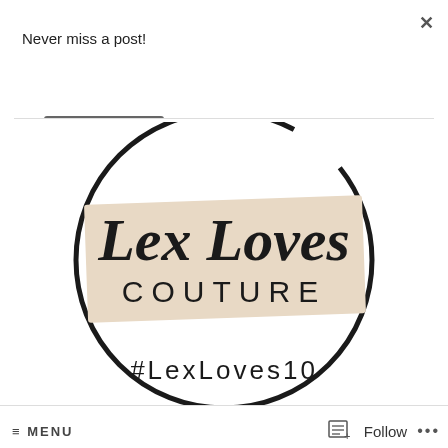Never miss a post!
Subscribe
[Figure (logo): Lex Loves Couture logo: a circular brush-stroke ring with a beige/tan rectangular banner across the center reading 'Lex Loves' in script font and 'COUTURE' in spaced caps, with '#LexLoves10' below the circle.]
≡ MENU
Follow
...